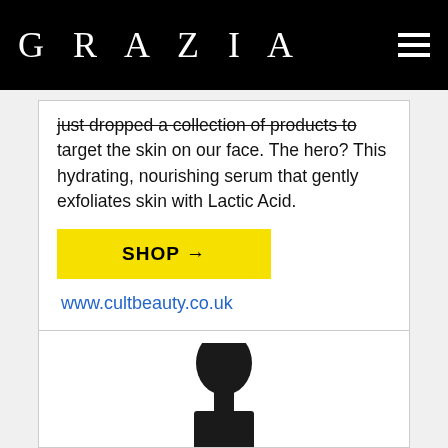GRAZIA
just dropped a collection of products to target the skin on our face. The hero? This hydrating, nourishing serum that gently exfoliates skin with Lactic Acid.
SHOP →
www.cultbeauty.co.uk
[Figure (photo): Product dropper bottle with black rounded dropper bulb on top and black glass bottle body, on white background]